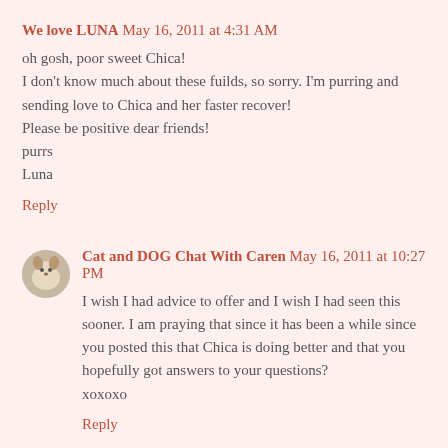We love LUNA  May 16, 2011 at 4:31 AM
oh gosh, poor sweet Chica!
I don't know much about these fuilds, so sorry. I'm purring and sending love to Chica and her faster recover!
Please be positive dear friends!
purrs
Luna
Reply
Cat and DOG Chat With Caren  May 16, 2011 at 10:27 PM
I wish I had advice to offer and I wish I had seen this sooner. I am praying that since it has been a while since you posted this that Chica is doing better and that you hopefully got answers to your questions?
xoxoxo
Reply